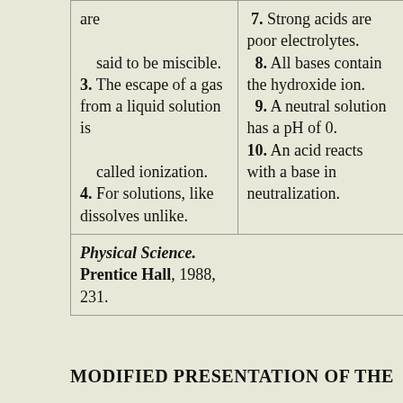| are

    said to be miscible.
3. The escape of a gas from a liquid solution is

    called ionization.
4. For solutions, like dissolves unlike. | 7. Strong acids are poor electrolytes.
8. All bases contain the hydroxide ion.
9. A neutral solution has a pH of 0.
10. An acid reacts with a base in neutralization. |
Physical Science. Prentice Hall, 1988, 231.
MODIFIED PRESENTATION OF THE